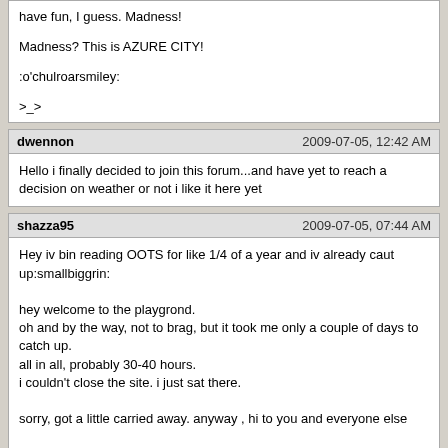have fun, I guess. Madness!

Madness? This is AZURE CITY!

:o'chulroarsmiley:

>_>
dwennon | 2009-07-05, 12:42 AM
Hello i finally decided to join this forum...and have yet to reach a decision on weather or not i like it here yet
shazza95 | 2009-07-05, 07:44 AM
Hey iv bin reading OOTS for like 1/4 of a year and iv already caut up:smallbiggrin:

hey welcome to the playgrond.
oh and by the way, not to brag, but it took me only a couple of days to catch up.
all in all, probably 30-40 hours.
i couldn't close the site. i just sat there.

sorry, got a little carried away. anyway , hi to you and everyone else

oh yeah, you will like it here dwennon. well you should
*cough*
dwennon | 2009-07-05, 12:11 PM
well terrific then
john117 | 2009-07-07, 01:25 PM